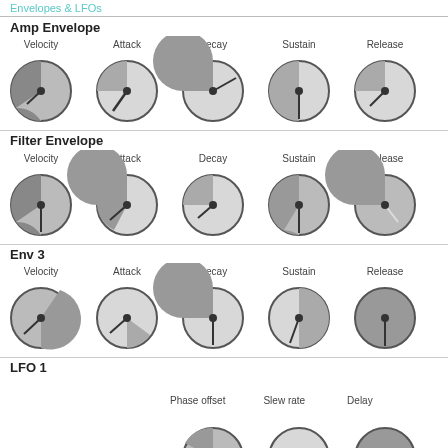Envelopes & LFOs
Amp Envelope
[Figure (illustration): Five rotary knobs for Amp Envelope: Velocity, Attack, Decay, Sustain, Release]
Filter Envelope
[Figure (illustration): Five rotary knobs for Filter Envelope: Velocity, Attack, Decay, Sustain, Release]
Env 3
[Figure (illustration): Five rotary knobs for Env 3: Velocity, Attack, Decay, Sustain, Release]
LFO 1
Phase offset   Slew rate   Delay